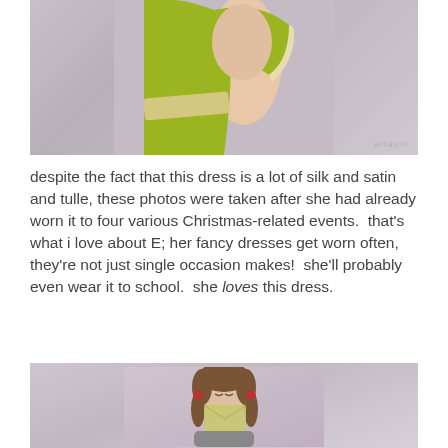[Figure (photo): Close-up photo of a child wearing a bright lime green short-sleeved dress with cream/beige trim and sash, against a mauve/lavender background. Only the torso and arm are visible. Watermark 'artasio' visible in bottom right.]
despite the fact that this dress is a lot of silk and satin and tulle, these photos were taken after she had already worn it to four various Christmas-related events.  that's what i love about E; her fancy dresses get worn often, they're not just single occasion makes!  she'll probably even wear it to school.  she loves this dress.
[Figure (photo): Photo of a young girl with brown hair in pigtails, eyes closed, holding something up to her face, against a mauve/pink background. Partial view — head and upper body only visible.]